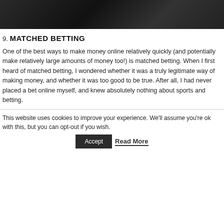[Figure (photo): Dark photograph showing what appears to be a laptop or desk scene, partially visible at the top of the page]
9. MATCHED BETTING
One of the best ways to make money online relatively quickly (and potentially make relatively large amounts of money too!) is matched betting. When I first heard of matched betting, I wondered whether it was a truly legitimate way of making money, and whether it was too good to be true. After all, I had never placed a bet online myself, and knew absolutely nothing about sports and betting.
This website uses cookies to improve your experience. We'll assume you're ok with this, but you can opt-out if you wish.